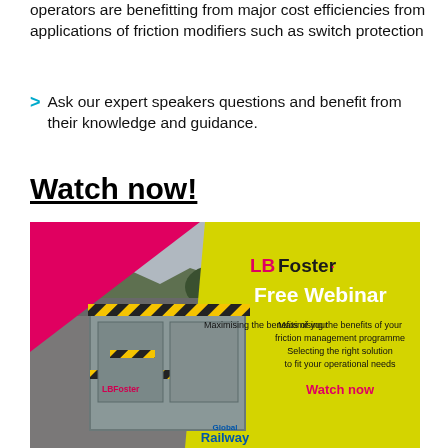operators are benefitting from major cost efficiencies from applications of friction modifiers such as switch protection
Ask our expert speakers questions and benefit from their knowledge and guidance.
Watch now!
[Figure (illustration): LBFoster Free Webinar advertisement banner showing an LBFoster friction management equipment box on railway tracks, with pink and yellow geometric design, featuring text: LBFoster Free Webinar, Maximising the benefits of your friction management programme Selecting the right solution to fit your operational needs, Watch now. Also shows Global Railway Review logo at the bottom.]